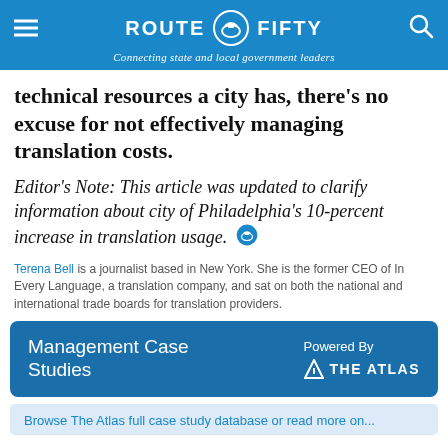ROUTE FIFTY — Connecting state and local government leaders
technical resources a city has, there's no excuse for not effectively managing translation costs.
Editor's Note: This article was updated to clarify information about city of Philadelphia's 10-percent increase in translation usage.
Terena Bell is a journalist based in New York. She is the former CEO of In Every Language, a translation company, and sat on both the national and international trade boards for translation providers.
Management Case Studies — Powered By THE ATLAS
Browse The Atlas full case study database or read more on...